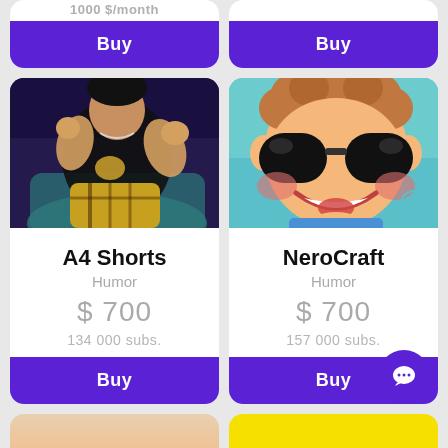1000 $/month
Buy
Buy
[Figure (photo): Photo of a young person sitting in a chair wearing a black t-shirt and plaid pants, gesturing with hands]
A4 Shorts
Humor
$ 700
134 000 subs.
Buy
[Figure (illustration): Cartoon character with big dark sunglasses, red cheeks, smiling, with curly hair - animated style avatar]
NeroCraft
Humor
$ 700
157 000 subs.
Buy
[Figure (photo): Partially visible bottom card with warm tones]
[Figure (illustration): Partially visible bottom card with yellow background]